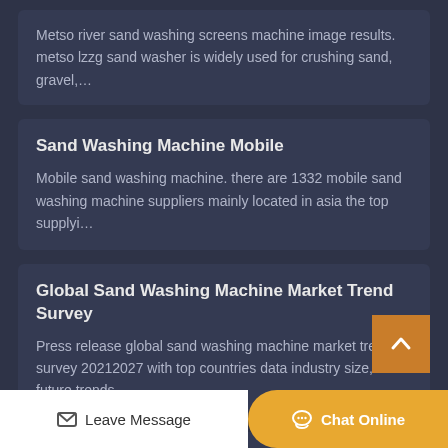Metso river sand washing screens machine image results. metso lzzg sand washer is widely used for crushing sand, gravel,...
Sand Washing Machine Mobile
Mobile sand washing machine. there are 1332 mobile sand washing machine suppliers mainly located in asia the top supplyi...
Global Sand Washing Machine Market Trend Survey
Press release global sand washing machine market trend survey 20212027 with top countries data industry size, future trends,...
Sand Washing Plant Process Flow Chart Template Google Docs
Process flow diagram for a chrom...
Leave Message  Chat Online